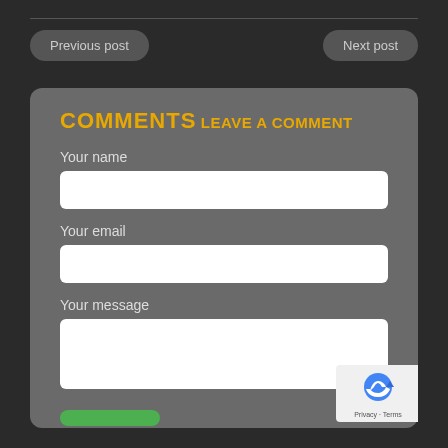Previous post
Next post
COMMENTS
LEAVE A COMMENT
Your name
Your email
Your message
Privacy · Terms